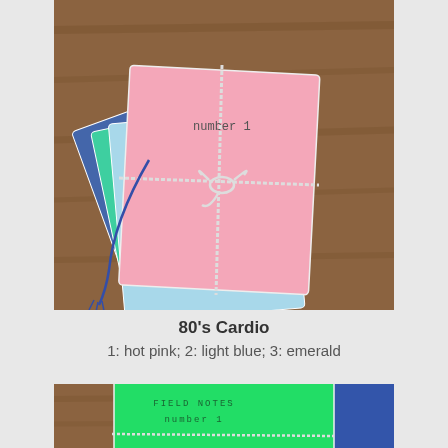[Figure (photo): Stack of colorful field notebooks (hot pink on top, light blue, emerald/teal) tied with white twine in a cross pattern with a bow, on a wooden surface. The top notebook reads 'number 1'.]
80's Cardio
1: hot pink; 2: light blue; 3: emerald
[Figure (photo): Partial view of field notebooks with bright green (emerald) cover on top showing stamped text 'FIELD NOTES number 1', tied with white twine, on wooden surface.]